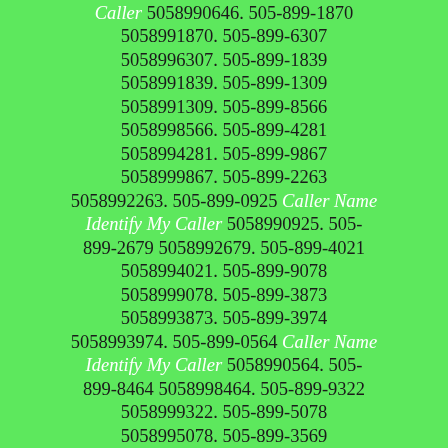Caller 5058990646. 505-899-1870 5058991870. 505-899-6307 5058996307. 505-899-1839 5058991839. 505-899-1309 5058991309. 505-899-8566 5058998566. 505-899-4281 5058994281. 505-899-9867 5058999867. 505-899-2263 5058992263. 505-899-0925 Caller Name Identify My Caller 5058990925. 505-899-2679 5058992679. 505-899-4021 5058994021. 505-899-9078 5058999078. 505-899-3873 5058993873. 505-899-3974 5058993974. 505-899-0564 Caller Name Identify My Caller 5058990564. 505-899-8464 5058998464. 505-899-9322 5058999322. 505-899-5078 5058995078. 505-899-3569 5058993569. 505-899-8277 5058998277. 505-899-3565 5058993565. 505-899-8000 5058998000. 505-899-6600 5058996600. 505-899-9622 5058999622. 505-899-9410